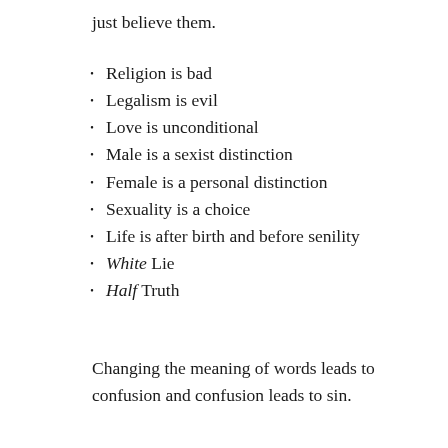just believe them.
Religion is bad
Legalism is evil
Love is unconditional
Male is a sexist distinction
Female is a personal distinction
Sexuality is a choice
Life is after birth and before senility
White Lie
Half Truth
Changing the meaning of words leads to confusion and confusion leads to sin.